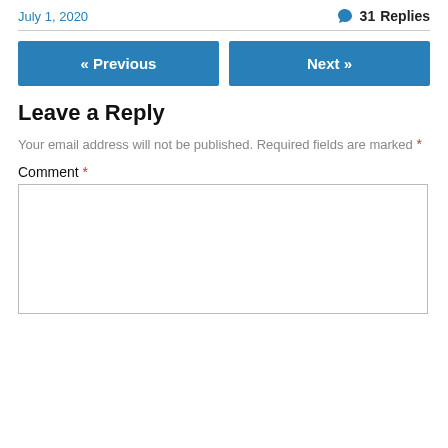July 1, 2020
31 Replies
« Previous
Next »
Leave a Reply
Your email address will not be published. Required fields are marked *
Comment *